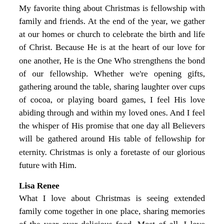My favorite thing about Christmas is fellowship with family and friends. At the end of the year, we gather at our homes or church to celebrate the birth and life of Christ. Because He is at the heart of our love for one another, He is the One Who strengthens the bond of our fellowship. Whether we're opening gifts, gathering around the table, sharing laughter over cups of cocoa, or playing board games, I feel His love abiding through and within my loved ones. And I feel the whisper of His promise that one day all Believers will be gathered around His table of fellowship for eternity. Christmas is only a foretaste of our glorious future with Him.
Lisa Renee
What I love about Christmas is seeing extended family come together in one place, sharing memories of the year over delicious food. Most of all, I love how the world stops to celebrate a significant event in history, our Savior's birth.